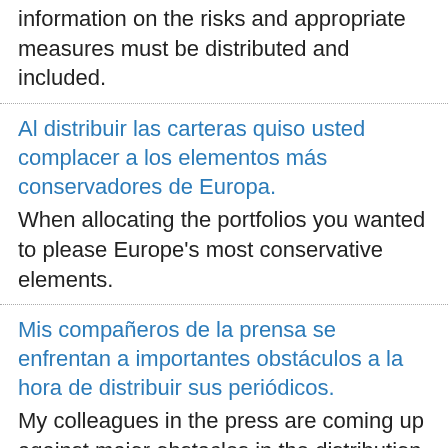information on the risks and appropriate measures must be distributed and included.
Al distribuir las carteras quiso usted complacer a los elementos más conservadores de Europa. When allocating the portfolios you wanted to please Europe's most conservative elements.
Mis compañeros de la prensa se enfrentan a importantes obstáculos a la hora de distribuir sus periódicos. My colleagues in the press are coming up against major obstacles in the distribution of their newspapers.
No sirve para nada distribuir la pobreza, como propone este informe que hagamos.